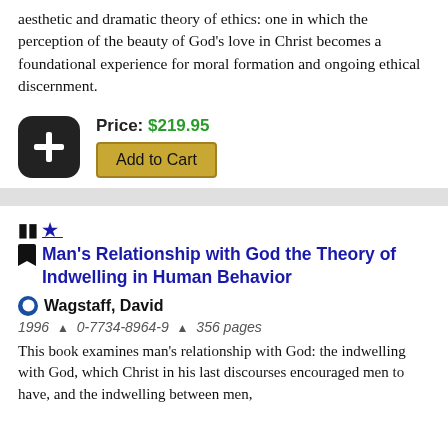aesthetic and dramatic theory of ethics: one in which the perception of the beauty of God's love in Christ becomes a foundational experience for moral formation and ongoing ethical discernment.
Price: $219.95
Add to Cart
Man's Relationship with God the Theory of Indwelling in Human Behavior
Wagstaff, David
1996 ▲ 0-7734-8964-9 ▲ 356 pages
This book examines man's relationship with God: the indwelling with God, which Christ in his last discourses encouraged men to have, and the indwelling between men,